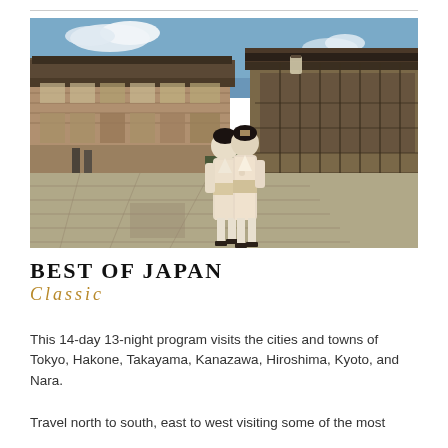[Figure (photo): Two women dressed in white kimonos walking down a traditional Japanese street lined with old wooden buildings. The street has stone paving and the sky is blue with white clouds.]
BEST OF JAPAN
Classic
This 14-day 13-night program visits the cities and towns of Tokyo, Hakone, Takayama, Kanazawa, Hiroshima, Kyoto, and Nara.
Travel north to south, east to west visiting some of the most